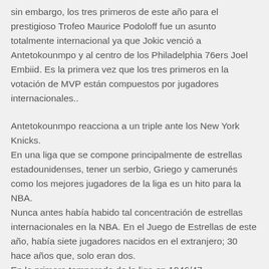sin embargo, los tres primeros de este año para el prestigioso Trofeo Maurice Podoloff fue un asunto totalmente internacional ya que Jokic venció a Antetokounmpo y al centro de los Philadelphia 76ers Joel Embiid. Es la primera vez que los tres primeros en la votación de MVP están compuestos por jugadores internacionales..
Antetokounmpo reacciona a un triple ante los New York Knicks.
En una liga que se compone principalmente de estrellas estadounidenses, tener un serbio, Griego y camerunés como los mejores jugadores de la liga es un hito para la NBA.
Nunca antes había habido tal concentración de estrellas internacionales en la NBA. En el Juego de Estrellas de este año, había siete jugadores nacidos en el extranjero; 30 hace años que, solo eran dos.
En la primera temporada de la liga en 1946/47,